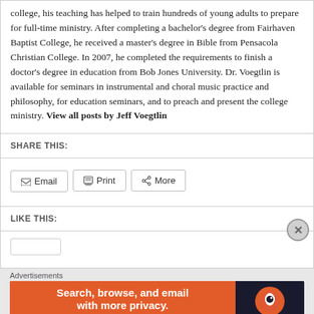college, his teaching has helped to train hundreds of young adults to prepare for full-time ministry. After completing a bachelor's degree from Fairhaven Baptist College, he received a master's degree in Bible from Pensacola Christian College. In 2007, he completed the requirements to finish a doctor's degree in education from Bob Jones University. Dr. Voegtlin is available for seminars in instrumental and choral music practice and philosophy, for education seminars, and to preach and present the college ministry. View all posts by Jeff Voegtlin
SHARE THIS:
Email  Print  More
LIKE THIS:
Advertisements
[Figure (infographic): DuckDuckGo advertisement banner: 'Search, browse, and email with more privacy. All in One Free App' with DuckDuckGo logo on dark background.]